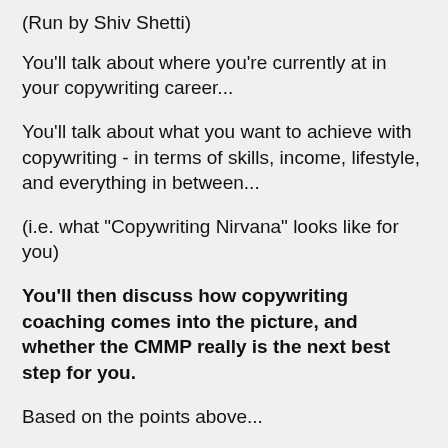(Run by Shiv Shetti)
You'll talk about where you're currently at in your copywriting career...
You'll talk about what you want to achieve with copywriting - in terms of skills, income, lifestyle, and everything in between...
(i.e. what "Copywriting Nirvana" looks like for you)
You'll then discuss how copywriting coaching comes into the picture, and whether the CMMP really is the next best step for you.
Based on the points above...